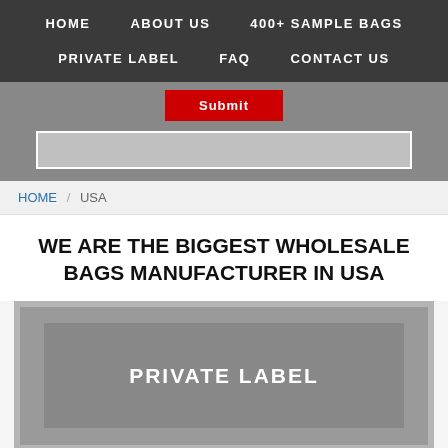HOME   ABOUT US   400+ SAMPLE BAGS   PRIVATE LABEL   FAQ   CONTACT US
[Figure (screenshot): Website form area with a red Submit button and an input field on a gray background]
HOME / USA
WE ARE THE BIGGEST WHOLESALE BAGS MANUFACTURER IN USA
[Figure (screenshot): Gray placeholder image block with white bold text reading PRIVATE LABEL]